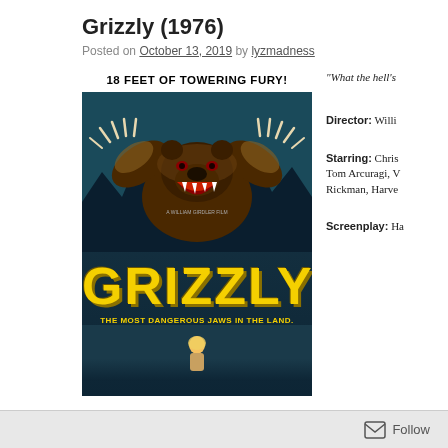Grizzly (1976)
Posted on October 13, 2019 by lyzmadness
[Figure (photo): Movie poster for Grizzly (1976) showing a large grizzly bear rearing up with claws extended. Text reads '18 FEET OF TOWERING FURY!' at top, 'GRIZZLY' in large yellow letters, and 'THE MOST DANGEROUS JAWS IN THE LAND.' at bottom. A William Girdler Film.]
“What the hell’s
Director: Willi
Starring: Chris Tom Arcuragi, V Rickman, Harve
Screenplay: Ha
Follow